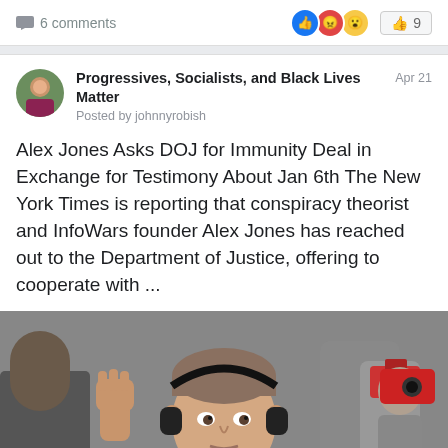6 comments
9
Progressives, Socialists, and Black Lives Matter
Posted by johnnyrobish
Apr 21
Alex Jones Asks DOJ for Immunity Deal in Exchange for Testimony About Jan 6th The New York Times is reporting that conspiracy theorist and InfoWars founder Alex Jones has reached out to the Department of Justice, offering to cooperate with ...
[Figure (photo): Man with headphones holding a microphone with InfoWars branding, raising his fist at a rally, people with cameras visible in background]